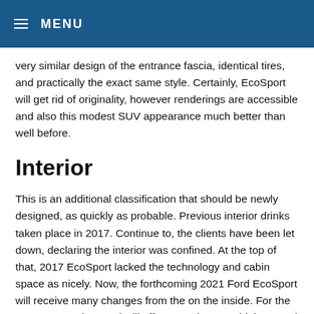MENU
very similar design of the entrance fascia, identical tires, and practically the exact same style. Certainly, EcoSport will get rid of originality, however renderings are accessible and also this modest SUV appearance much better than well before.
Interior
This is an additional classification that should be newly designed, as quickly as probable. Previous interior drinks taken place in 2017. Continue to, the clients have been let down, declaring the interior was confined. At the top of that, 2017 EcoSport lacked the technology and cabin space as nicely. Now, the forthcoming 2021 Ford EcoSport will receive many changes from the on the inside. For the commence, Blue Oval will offer you a lot more higher-good quality components. By doing so, comfort will likely be much better and the interior will be a lot more high end. The existing model provides some of the vehicle driver-support as